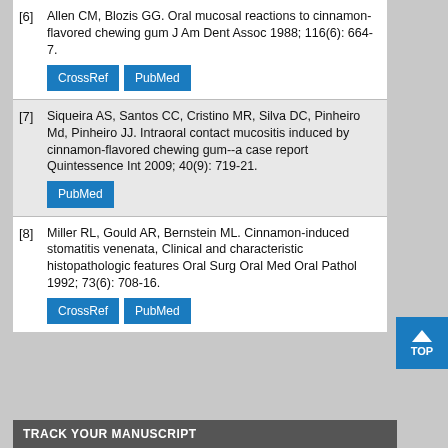[6] Allen CM, Blozis GG. Oral mucosal reactions to cinnamon-flavored chewing gum J Am Dent Assoc 1988; 116(6): 664-7. [CrossRef] [PubMed]
[7] Siqueira AS, Santos CC, Cristino MR, Silva DC, Pinheiro Md, Pinheiro JJ. Intraoral contact mucositis induced by cinnamon-flavored chewing gum--a case report Quintessence Int 2009; 40(9): 719-21. [PubMed]
[8] Miller RL, Gould AR, Bernstein ML. Cinnamon-induced stomatitis venenata, Clinical and characteristic histopathologic features Oral Surg Oral Med Oral Pathol 1992; 73(6): 708-16. [CrossRef] [PubMed]
TRACK YOUR MANUSCRIPT